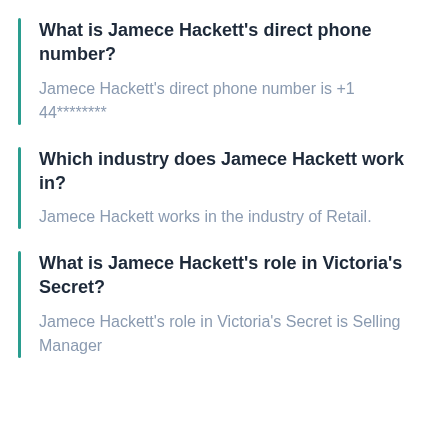What is Jamece Hackett's direct phone number?
Jamece Hackett's direct phone number is +1 44********
Which industry does Jamece Hackett work in?
Jamece Hackett works in the industry of Retail.
What is Jamece Hackett's role in Victoria's Secret?
Jamece Hackett's role in Victoria's Secret is Selling Manager